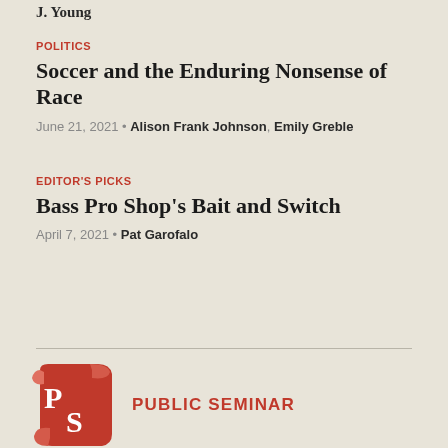J. Young
POLITICS
Soccer and the Enduring Nonsense of Race
June 21, 2021 • Alison Frank Johnson, Emily Greble
EDITOR'S PICKS
Bass Pro Shop's Bait and Switch
April 7, 2021 • Pat Garofalo
[Figure (logo): Public Seminar logo — red scroll with P/S letters in white, beside bold red text PUBLIC SEMINAR]